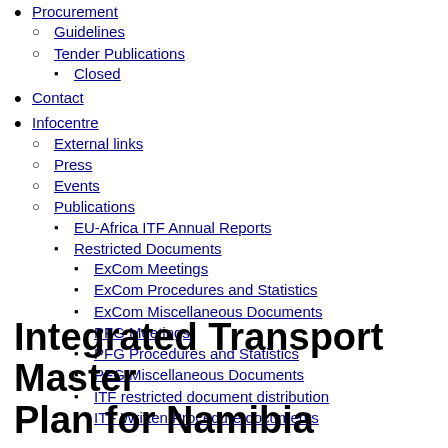Procurement
Guidelines
Tender Publications
Closed
Contact
Infocentre
External links
Press
Events
Publications
EU-Africa ITF Annual Reports
Restricted Documents
ExCom Meetings
ExCom Procedures and Statistics
ExCom Miscellaneous Documents
PFG Meetings
PFG Procedures and Statistics
PFG Miscellaneous Documents
ITF restricted document distribution
ITF Written Procedure documents
Integrated Transport Master Plan for Namibia